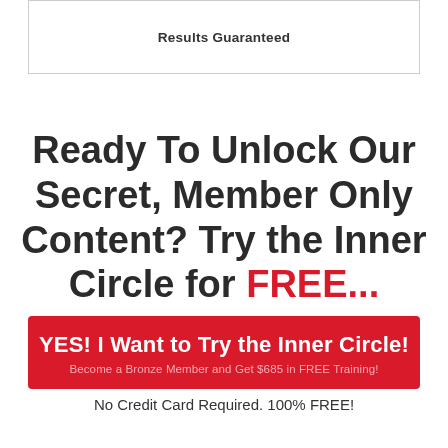Results Guaranteed
Ready To Unlock Our Secret, Member Only Content? Try the Inner Circle for FREE...
YES! I Want to Try the Inner Circle!
Become a Bronze Member and Get $685 in FREE Training!
No Credit Card Required. 100% FREE!